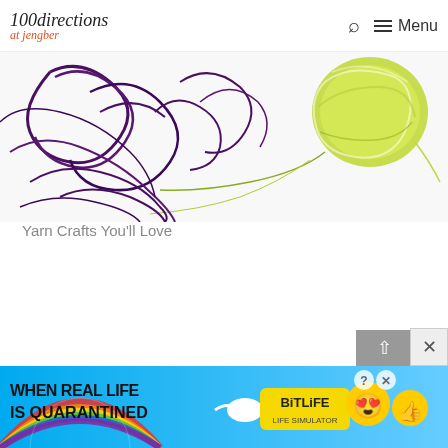100directions — search and menu navigation
[Figure (photo): Overhead photo of colorful yarn — purple/dark yarn strands tangled loosely on a white surface with a ball of green and white yarn in the upper right corner]
Yarn Crafts You'll Love
[Figure (screenshot): Advertisement banner: 'WHEN REAL LIFE IS QUARANTINED' with BitLife game logo, emoji characters, rainbow background, and close (X) and help (?) buttons]